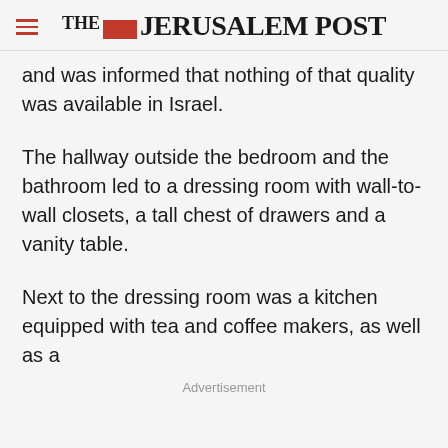THE JERUSALEM POST
and was informed that nothing of that quality was available in Israel.
The hallway outside the bedroom and the bathroom led to a dressing room with wall-to-wall closets, a tall chest of drawers and a vanity table.
Next to the dressing room was a kitchen equipped with tea and coffee makers, as well as a
Advertisement